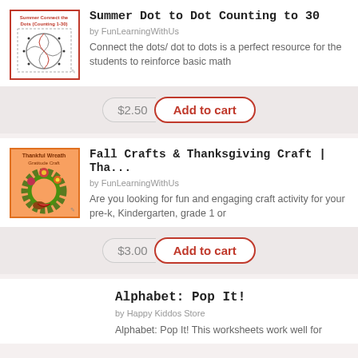[Figure (screenshot): Product thumbnail for Summer Connect the Dots (Counting 1-30) showing a beach ball dot-to-dot image with red border]
Summer Dot to Dot Counting to 30
by FunLearningWithUs
Connect the dots/ dot to dots is a perfect resource for the students to reinforce basic math
$2.50
Add to cart
[Figure (screenshot): Product thumbnail for Thankful Wreath Gratitude Craft showing a colorful autumn wreath]
Fall Crafts & Thanksgiving Craft | Tha...
by FunLearningWithUs
Are you looking for fun and engaging craft activity for your pre-k, Kindergarten, grade 1 or
$3.00
Add to cart
Alphabet: Pop It!
by Happy Kiddos Store
Alphabet: Pop It! This worksheets work well for